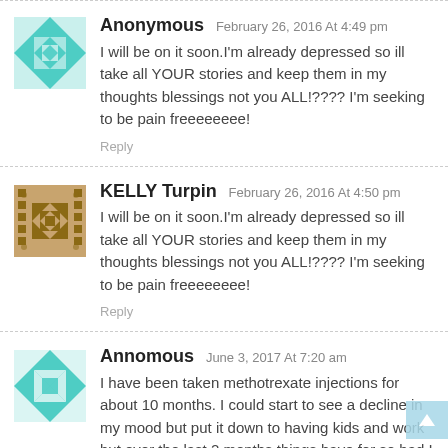Anonymous  February 26, 2016 At 4:49 pm
I will be on it soon.I'm already depressed so ill take all YOUR stories and keep them in my thoughts blessings not you ALL!???? I'm seeking to be pain freeeeeeee!
Reply
KELLY Turpin  February 26, 2016 At 4:50 pm
I will be on it soon.I'm already depressed so ill take all YOUR stories and keep them in my thoughts blessings not you ALL!???? I'm seeking to be pain freeeeeeee!
Reply
Annomous  June 3, 2017 At 7:20 am
I have been taken methotrexate injections for about 10 months. I could start to see a decline in my mood but put it down to having kids and work but over the last 2 months things have for so bad I have lost a stone in a